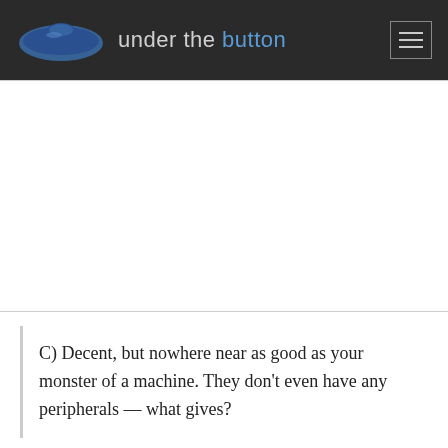under the button
C) Decent, but nowhere near as good as your monster of a machine. They don’t even have any peripherals — what gives?
How do they look today?